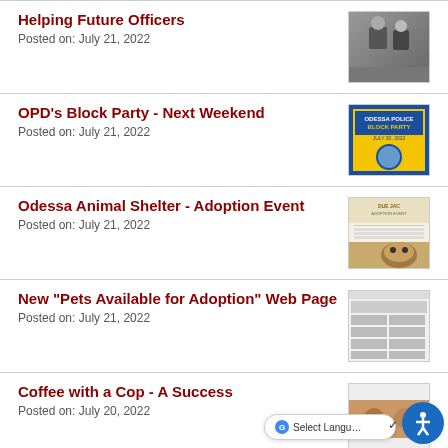Helping Future Officers
Posted on: July 21, 2022
[Figure (photo): Two people standing outdoors, one in police uniform]
OPD's Block Party - Next Weekend
Posted on: July 21, 2022
[Figure (photo): Odessa Police Block Party flyer, July 30 2022, blue and yellow colors]
Odessa Animal Shelter - Adoption Event
Posted on: July 21, 2022
[Figure (photo): Animal shelter adoption event flyer with dog photo]
New "Pets Available for Adoption" Web Page
Posted on: July 21, 2022
[Figure (screenshot): Screenshot of pets available for adoption webpage with animal photos]
Coffee with a Cop - A Success
Posted on: July 20, 2022